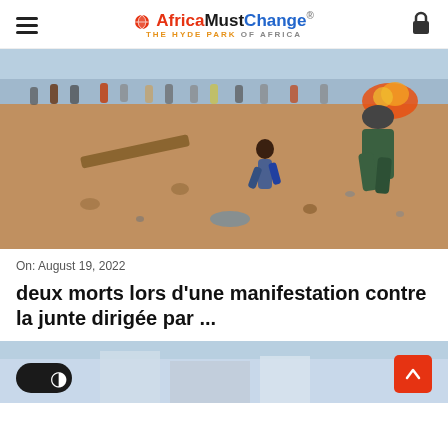AfricaMustChange® THE HYDE PARK OF AFRICA
[Figure (photo): Protest scene showing a crowd of people on a dusty street, a riot police officer in green uniform and helmet on the right, fires burning in the background, people running and throwing objects.]
On: August 19, 2022
deux morts lors d'une manifestation contre la junte dirigée par ...
[Figure (photo): Partial view of a second article image showing buildings under a blue sky, with a dark mode toggle on the left and a red scroll-to-top button on the right.]